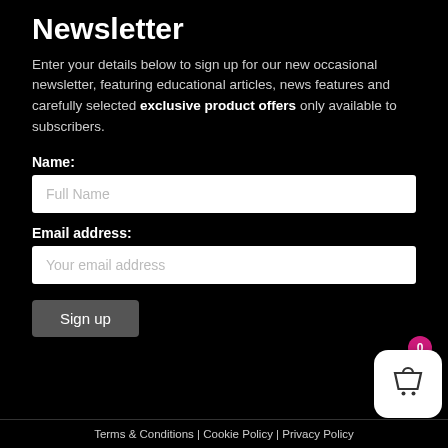Newsletter
Enter your details below to sign up for our new occasional newsletter, featuring educational articles, news features and carefully selected exclusive product offers only available to subscribers.
Name:
Full Name
Email address:
Your email address
Sign up
[Figure (other): Shopping basket widget with pink badge showing 0]
Terms & Conditions | Cookie Policy | Privacy Policy